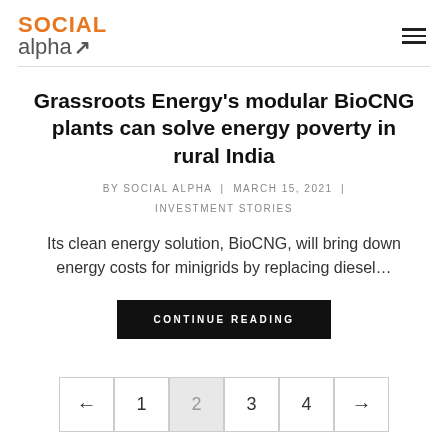SOCIAL alpha
Grassroots Energy's modular BioCNG plants can solve energy poverty in rural India
BY SOCIAL ALPHA | MARCH 15, 2021 | INVESTMENT STORIES
Its clean energy solution, BioCNG, will bring down energy costs for minigrids by replacing diesel…
CONTINUE READING
← 1 2 3 4 →